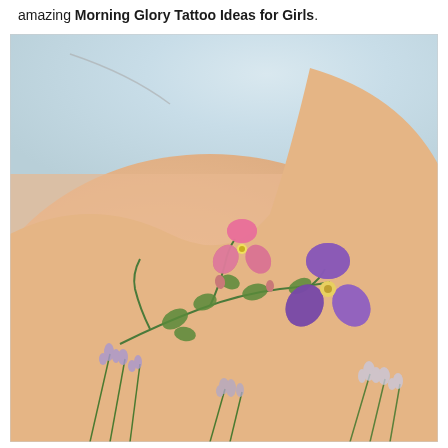amazing Morning Glory Tattoo Ideas for Girls.
[Figure (photo): Close-up photograph of a person's upper back/shoulder area showing a morning glory flower tattoo with purple and pink blooms, green vines and leaves, alongside real lavender flowers placed in the foreground.]